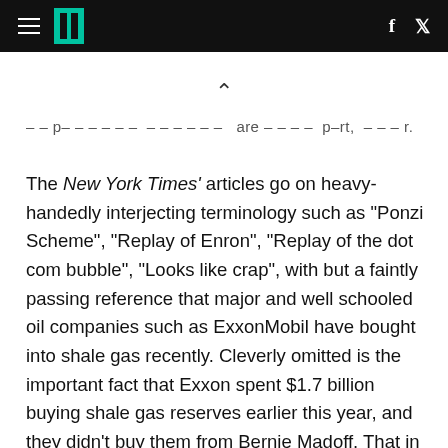≡ | f ✓
– – p – – – – – – – – – – – a r e – – – – p – r t , – – – – r.
The New York Times' articles go on heavy-handedly interjecting terminology such as "Ponzi Scheme", "Replay of Enron", "Replay of the dot com bubble", "Looks like crap", with but a faintly passing reference that major and well schooled oil companies such as ExxonMobil have bought into shale gas recently. Cleverly omitted is the important fact that Exxon spent $1.7 billion buying shale gas reserves earlier this year, and they didn't buy them from Bernie Madoff. That in 2010 Shell paid $4.7 billion for the shale gas producer